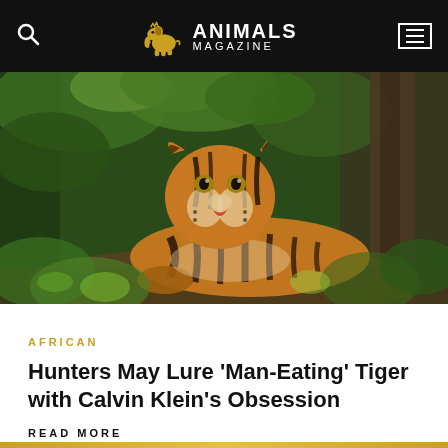ANIMALS MAGAZINE
[Figure (photo): A Bengal tiger resting among green jungle foliage, looking directly at the camera, with lush forest vegetation in the background.]
AFRICAN
Hunters May Lure ‘Man-Eating’ Tiger with Calvin Klein’s Obsession
READ MORE